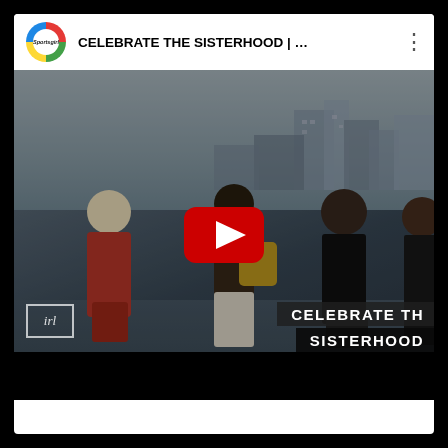[Figure (screenshot): YouTube video card showing 'CELEBRATE THE SISTERHOOD | ...' by Sportsgirl channel. The thumbnail shows a group of people from behind looking at a cityscape, with a YouTube play button in the center. Bottom-right of the thumbnail has overlaid text 'CELEBRATE TH' and 'SISTERHOOD' on dark backgrounds. Bottom-left has a small watermark logo. The card has a white header bar with the Sportsgirl circular logo, video title, and three-dot menu icon.]